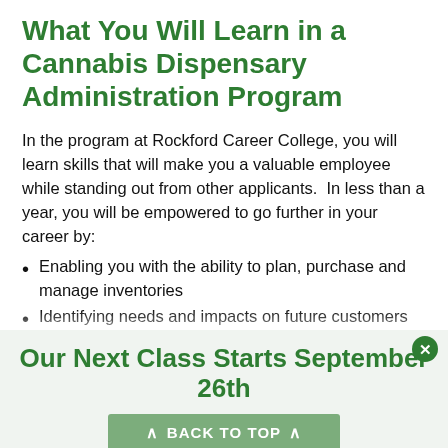What You Will Learn in a Cannabis Dispensary Administration Program
In the program at Rockford Career College, you will learn skills that will make you a valuable employee while standing out from other applicants.  In less than a year, you will be empowered to go further in your career by:
Enabling you with the ability to plan, purchase and manage inventories
Identifying needs and impacts on future customers
Teaching you the cannabis laws in your state
Our Next Class Starts September 26th
BACK TO TOP